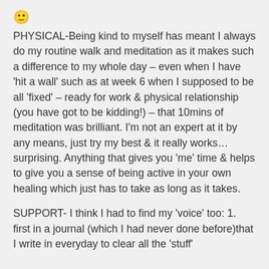[Figure (other): Smiley face emoji]
PHYSICAL-Being kind to myself has meant I always do my routine walk and meditation as it makes such a difference to my whole day – even when I have 'hit a wall' such as at week 6 when I supposed to be all 'fixed' – ready for work & physical relationship (you have got to be kidding!) – that 10mins of meditation was brilliant. I'm not an expert at it by any means, just try my best & it really works…surprising. Anything that gives you 'me' time & helps to give you a sense of being active in your own healing which just has to take as long as it takes.
SUPPORT- I think I had to find my 'voice' too: 1. first in a journal (which I had never done before)that I write in everyday to clear all the 'stuff'